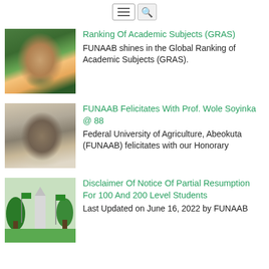[Figure (screenshot): Hamburger menu icon and search magnifier icon in the top bar]
[Figure (photo): Photo of an academic in graduation regalia (green and yellow)]
Ranking Of Academic Subjects (GRAS)
FUNAAB shines in the Global Ranking of Academic Subjects (GRAS).
[Figure (photo): Photo of an elderly man with white hair and beard, holding his face]
FUNAAB Felicitates With Prof. Wole Soyinka @ 88
Federal University of Agriculture, Abeokuta (FUNAAB) felicitates with our Honorary
[Figure (photo): Photo of a university campus entrance with green trees and flags]
Disclaimer Of Notice Of Partial Resumption For 100 And 200 Level Students
Last Updated on June 16, 2022 by FUNAAB